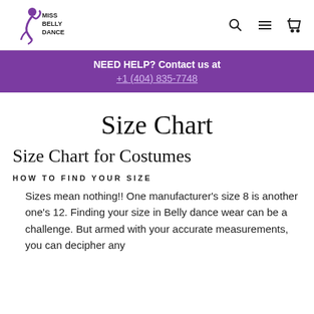Miss Belly Dance
NEED HELP? Contact us at +1 (404) 835-7748
Size Chart
Size Chart for Costumes
HOW TO FIND YOUR SIZE
Sizes mean nothing!! One manufacturer's size 8 is another one's 12. Finding your size in Belly dance wear can be a challenge. But armed with your accurate measurements, you can decipher any